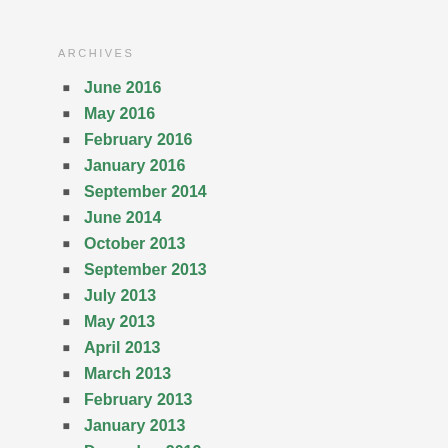ARCHIVES
June 2016
May 2016
February 2016
January 2016
September 2014
June 2014
October 2013
September 2013
July 2013
May 2013
April 2013
March 2013
February 2013
January 2013
December 2012
November 2012
October 2012
September 2012